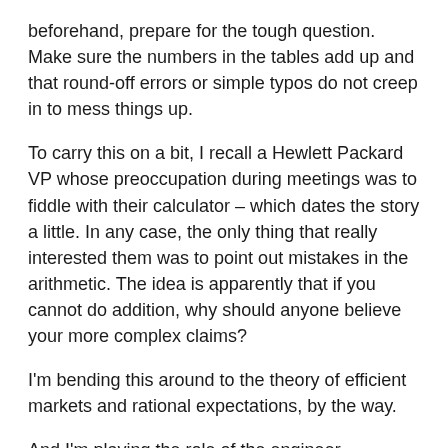beforehand, prepare for the tough question. Make sure the numbers in the tables add up and that round-off errors or simple typos do not creep in to mess things up.
To carry this on a bit, I recall a Hewlett Packard VP whose preoccupation during meetings was to fiddle with their calculator – which dates the story a little. In any case, the only thing that really interested them was to point out mistakes in the arithmetic. The idea is apparently that if you cannot do addition, why should anyone believe your more complex claims?
I'm bending this around to the theory of efficient markets and rational expectations, by the way.
And I'm playing the role of the engineer.
Rational Expectations